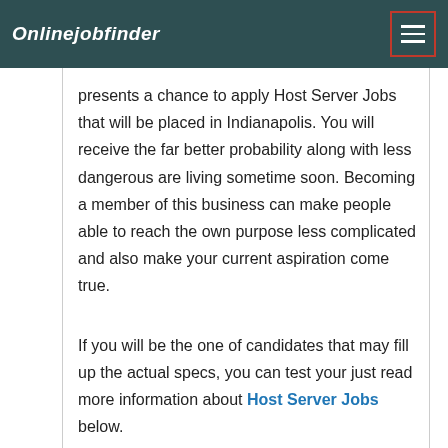Onlinejobfinder
presents a chance to apply Host Server Jobs that will be placed in Indianapolis. You will receive the far better probability along with less dangerous are living sometime soon. Becoming a member of this business can make people able to reach the own purpose less complicated and also make your current aspiration come true.
If you will be the one of candidates that may fill up the actual specs, you can test your just read more information about Host Server Jobs below.
The Alexander Hotel Recruitment 2022
Host Server Jobs Job Openings in Indianapolis